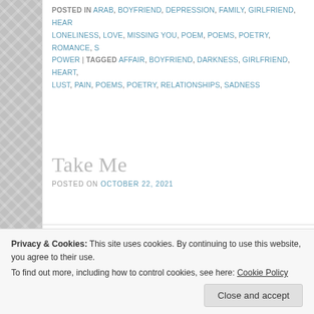POSTED IN ARAB, BOYFRIEND, DEPRESSION, FAMILY, GIRLFRIEND, HEAR... LONELINESS, LOVE, MISSING YOU, POEM, POEMS, POETRY, ROMANCE, S... POWER | TAGGED AFFAIR, BOYFRIEND, DARKNESS, GIRLFRIEND, HEART... LUST, PAIN, POEMS, POETRY, RELATIONSHIPS, SADNESS
Take Me
POSTED ON OCTOBER 22, 2021
I stand by the window..
Looking at the beautiful starry night sk...
Wishing he could feel my ache..
Privacy & Cookies: This site uses cookies. By continuing to use this website, you agree to their use.
To find out more, including how to control cookies, see here: Cookie Policy
Close and accept
Off in dreamland he rests...